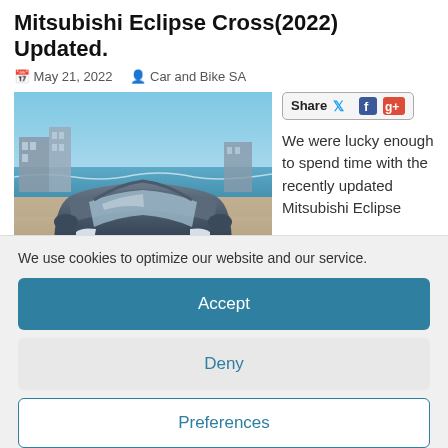Mitsubishi Eclipse Cross(2022) Updated.
May 21, 2022   Car and Bike SA
[Figure (photo): Front view of a dark blue/grey Mitsubishi Eclipse Cross SUV parked near a beach with buildings and ocean in the background.]
We were lucky enough to spend time with the recently updated Mitsubishi Eclipse
We use cookies to optimize our website and our service.
Accept
Deny
Preferences